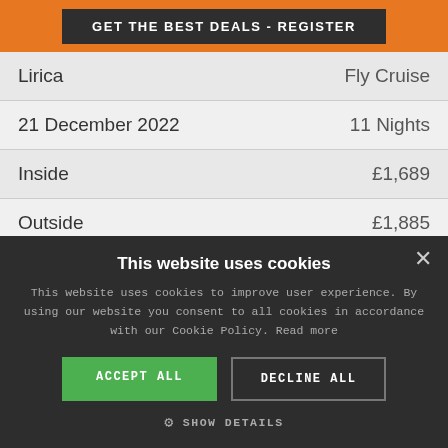GET THE BEST DEALS - REGISTER
|  |  |
| --- | --- |
| Lirica | Fly Cruise |
| 21 December 2022 | 11 Nights |
| Inside | £1,689 |
| Outside | £1,885 |
| Balcony | N/A |
This website uses cookies
This website uses cookies to improve user experience. By using our website you consent to all cookies in accordance with our Cookie Policy. Read more
ACCEPT ALL
DECLINE ALL
SHOW DETAILS